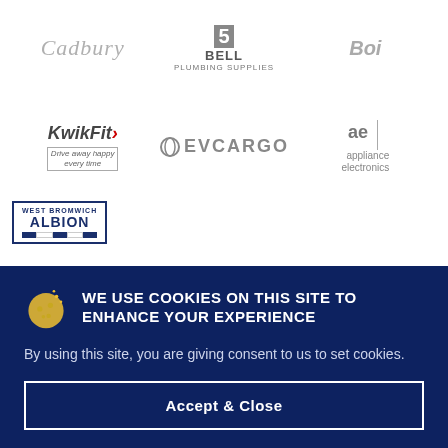[Figure (logo): Cadbury logo in grey italic script]
[Figure (logo): Bell Plumbing Supplies logo in grey]
[Figure (logo): Burger Boi logo in grey]
[Figure (logo): Kwik Fit - Drive away happy every time logo in grey]
[Figure (logo): EVCARGO logo in grey]
[Figure (logo): ae appliance electronics logo in grey]
[Figure (logo): West Bromwich Albion badge logo]
WE USE COOKIES ON THIS SITE TO ENHANCE YOUR EXPERIENCE
By using this site, you are giving consent to us to set cookies.
Accept & Close